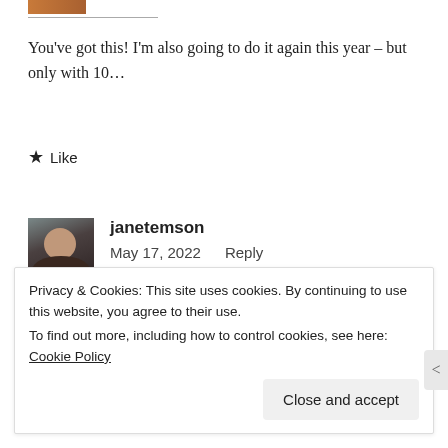[Figure (photo): Small partial avatar image at top, cropped, showing warm tones]
You've got this! I'm also going to do it again this year – but only with 10…
★ Like
[Figure (photo): Profile photo of janetemson, a woman with dark hair smiling]
janetemson
May 17, 2022   Reply
Privacy & Cookies: This site uses cookies. By continuing to use this website, you agree to their use.
To find out more, including how to control cookies, see here: Cookie Policy
Close and accept